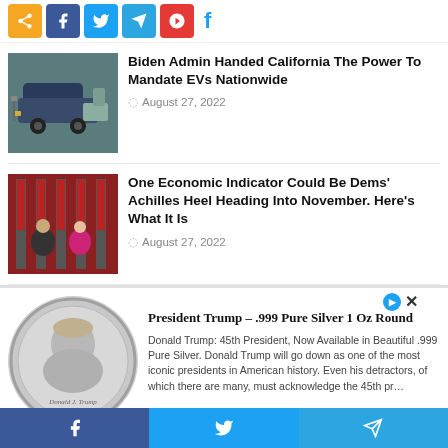[Figure (screenshot): Social share buttons row: orange share, Facebook, Twitter, Telegram, red Pinterest/save button]
[Figure (photo): Electric vehicle charging at a public charging station, dark SUV plugged in outdoors]
Biden Admin Handed California The Power To Mandate EVs Nationwide
August 27, 2022
[Figure (photo): Two politicians (a man in suit and a woman in pink) standing in front of American flags]
One Economic Indicator Could Be Dems’ Achilles Heel Heading Into November. Here’s What It Is
August 27, 2022
[Figure (photo): Advertisement showing a silver coin with Donald J. Trump profile relief]
President Trump – .999 Pure Silver 1 Oz Round
Donald Trump: 45th President, Now Available in Beautiful .999 Pure Silver. Donald Trump will go down as one of the most iconic presidents in American history. Even his detractors, of which there are many, must acknowledge the 45th pr…